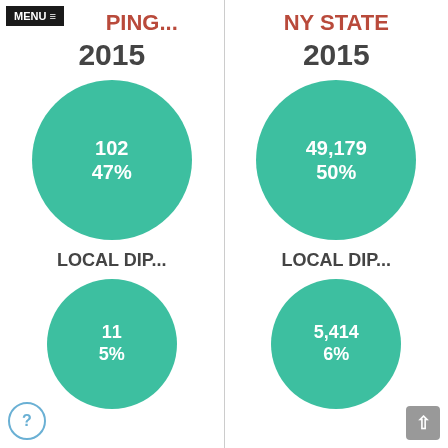MENU ≡ PING... | NY STATE
2015
[Figure (infographic): Teal circle bubble with text '102' and '47%' centered, representing local data for 2015]
LOCAL DIP...
[Figure (infographic): Teal circle bubble with text '11' and '5%' centered, representing local diploma data for 2015]
2015
[Figure (infographic): Teal circle bubble with text '49,179' and '50%' centered, representing NY State data for 2015]
LOCAL DIP...
[Figure (infographic): Teal circle bubble with text '5,414' and '6%' centered, representing NY State local diploma data for 2015]